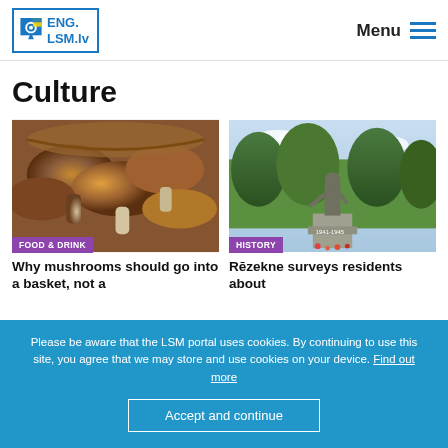ENG. LSM.lv — Menu
Culture
[Figure (photo): Basket of wild mushrooms, various brown species piled together]
FOOD & DRINK
Why mushrooms should go into a basket, not a
[Figure (photo): Statue monument in a park with green trees in background, Rēzekne]
HISTORY
Rēzekne surveys residents about
Please be aware that the LSM portal uses cookies. By continuing to use this site, you agree that we may store and use cookies on your device. Find out more
Accept and continue